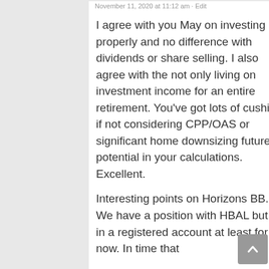November 11, 2020 at 11:12 am · Edit
I agree with you May on investing properly and no difference with dividends or share selling. I also agree with the not only living on investment income for an entire retirement. You've got lots of cushion if not considering CPP/OAS or significant home downsizing future potential in your calculations. Excellent.
Interesting points on Horizons BB. We have a position with HBAL but its in a registered account at least for now. In time that